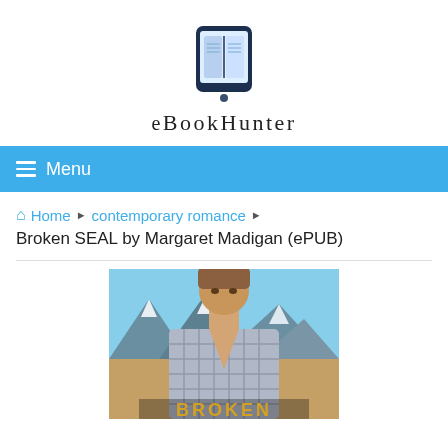[Figure (logo): eBookHunter logo: a tablet/e-reader device icon with an open book displayed on screen, dark navy blue border]
eBOOKHUNTER
≡ Menu
🏠 Home ▶ contemporary romance ▶
Broken SEAL by Margaret Madigan (ePUB)
[Figure (photo): Book cover for Broken SEAL by Margaret Madigan showing a young attractive male with brown hair, wearing an open plaid shirt, looking down, with mountainous landscape background. The word BROKEN is partially visible at the bottom of the image in golden/yellow letters.]